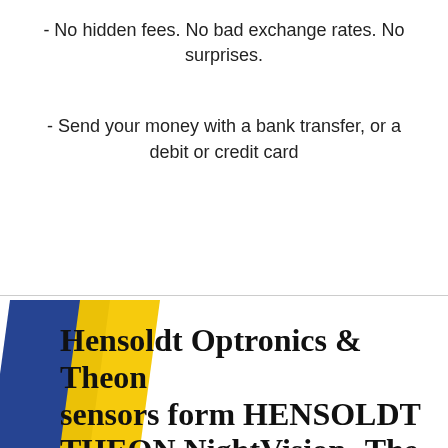- No hidden fees. No bad exchange rates. No surprises.
- Send your money with a bank transfer, or a debit or credit card
Hensoldt Optronics & Theon sensors form HENSOLDT THEON NightVision -The...